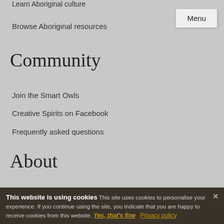Learn Aboriginal culture
Browse Aboriginal resources
Community
Join the Smart Owls
Creative Spirits on Facebook
Frequently asked questions
About
About this site & contact
Terms of use & copyright
Privacy policy
This website is using cookies This site uses cookies to personalise your experience. If you continue using the site, you indicate that you are happy to receive cookies from this website. Yes, that's fine   Privacy policy